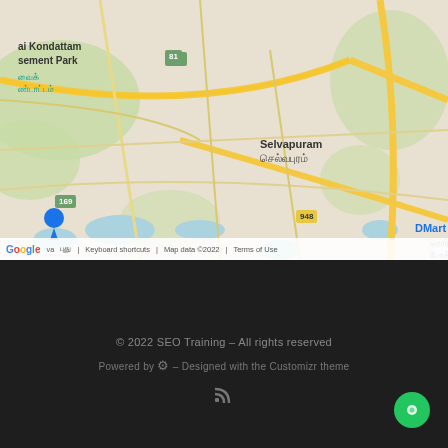[Figure (map): Google Maps screenshot showing Coimbatore area in Tamil Nadu, India. Visible locations include Selvapuram (செல்வபுரம்), Kuniyamuthur (குனியமுத்தூர்), Kovaipudur (கோவை), Podanur (போத்தனூர்), RHR ரயில் நிலையம் கோயம்புத்தூர், DMart Podanur (டிமார்ட் போத்தனூர்), with road numbers 81, 169, 948. Map controls include pegman icon and zoom +/- buttons. Map data ©2022.]
© 2022 SEO Training – All rights reserved
Powered by WordPress – Designed with the Customizr theme